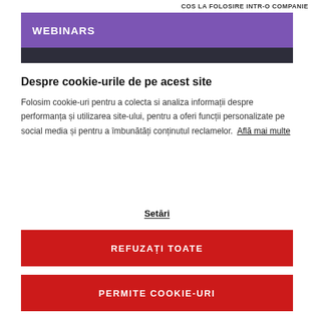COS LA FOLOSIRE INTR-O COMPANIE
WEBINARS
Despre cookie-urile de pe acest site
Folosim cookie-uri pentru a colecta si analiza informații despre performanța și utilizarea site-ului, pentru a oferi funcții personalizate pe social media și pentru a îmbunătăți conținutul reclamelor.  Află mai multe
Setări
REFUZAȚI TOATE
PERMITE COOKIE-URI